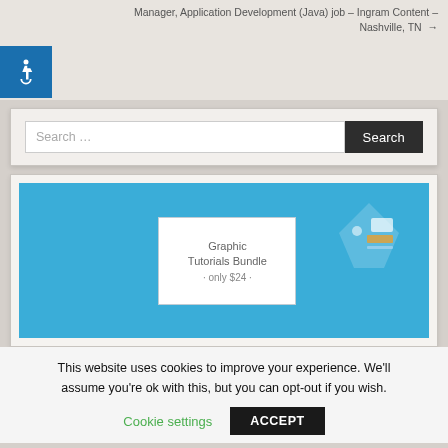Manager, Application Development (Java) job – Ingram Content – Nashville, TN →
[Figure (illustration): Accessibility icon: white wheelchair symbol on blue square background]
Search …
[Figure (screenshot): Blue banner advertising Graphic Tutorials Bundle - only $24 - with a product card overlay on a bright blue background]
This website uses cookies to improve your experience. We'll assume you're ok with this, but you can opt-out if you wish.
Cookie settings
ACCEPT